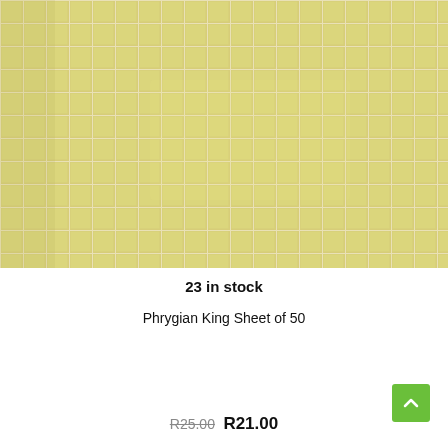[Figure (photo): Close-up photo of pale yellow/cream mosaic tile sheet showing a grid pattern of small square tiles with white grout lines.]
23 in stock
Phrygian King Sheet of 50
R25.00 R21.00